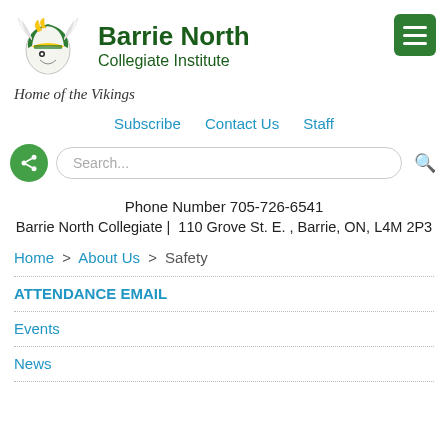[Figure (logo): Barrie North Collegiate Institute Viking mascot logo — armored Viking helmet in green, white, and yellow]
Barrie North Collegiate Institute
Home of the Vikings
Subscribe   Contact Us   Staff
Search...
Phone Number 705-726-6541
Barrie North Collegiate |  110 Grove St. E. , Barrie, ON, L4M 2P3
Home > About Us > Safety
ATTENDANCE EMAIL
Events
News